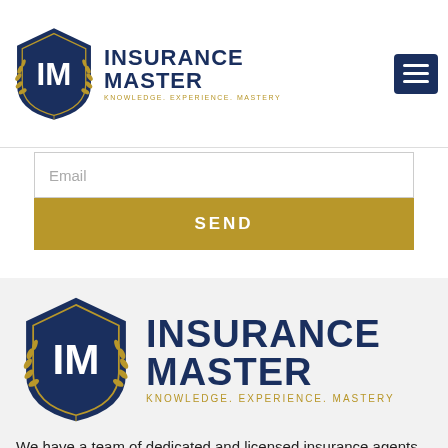[Figure (logo): Insurance Master logo in header — shield with IM letters and laurel wreath, with INSURANCE MASTER text and tagline KNOWLEDGE. EXPERIENCE. MASTERY]
[Figure (other): Hamburger menu icon — three horizontal white lines on dark navy square button]
Email
SEND
[Figure (logo): Insurance Master logo in footer — larger shield with IM letters and laurel wreath, with INSURANCE MASTER text and tagline KNOWLEDGE. EXPERIENCE. MASTERY]
We have a team of dedicated and licensed insurance agents who work so hard to ensure you enjoy the insurance benefits you need based on your lifestyle and that you are getting value for your